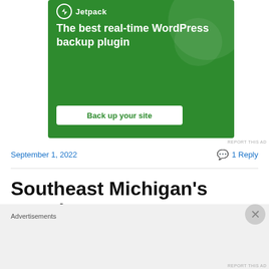[Figure (screenshot): Jetpack advertisement banner on green background with text 'The best real-time WordPress backup plugin' and a white button 'Back up your site']
REPORT THIS AD
September 1, 2022
1 Reply
Southeast Michigan's Premier Event – 2022 Woodward Dream
Advertisements
REPORT THIS AD